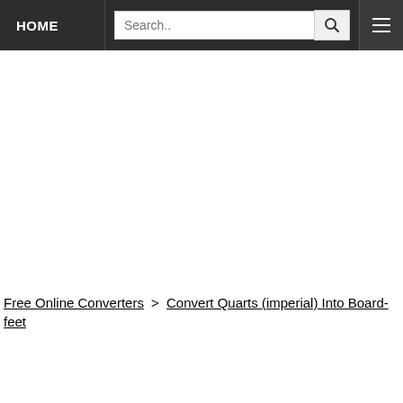HOME | Search.. [search button] [menu button]
Free Online Converters > Convert Quarts (imperial) Into Board-feet